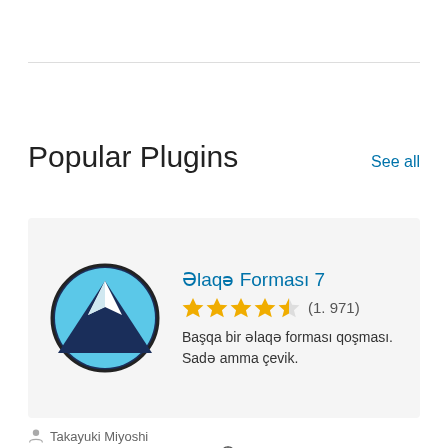Popular Plugins
[Figure (screenshot): Plugin card for Əlaqə Forması 7 with mountain logo, 4.5 star rating (1,971 reviews), and description text]
Takayuki Miyoshi
5+ million active installations  6.0.2 ilə test edilmişdir